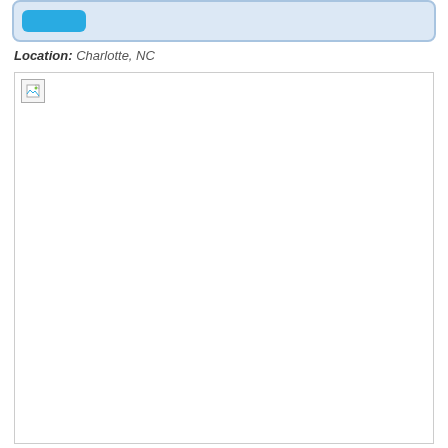Location: Charlotte, NC
[Figure (photo): Broken/missing image placeholder with a small broken image icon in the top-left corner inside a bordered white box]